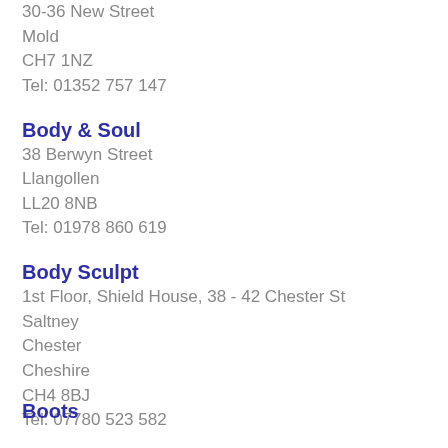30-36 New Street
Mold
CH7 1NZ
Tel: 01352 757 147
Body & Soul
38 Berwyn Street
Llangollen
LL20 8NB
Tel: 01978 860 619
Body Sculpt
1st Floor, Shield House, 38 - 42 Chester St
Saltney
Chester
Cheshire
CH4 8BJ
Tel: 07780 523 582
Boots